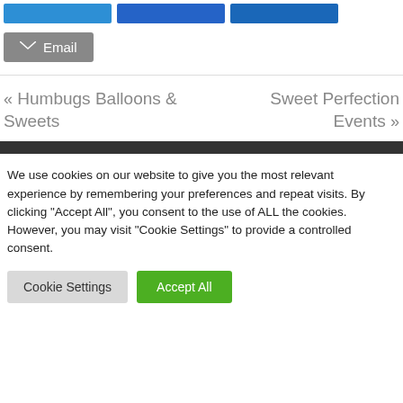[Figure (other): Three blue social share buttons in a row at top]
Email
« Humbugs Balloons & Sweets
Sweet Perfection Events »
We use cookies on our website to give you the most relevant experience by remembering your preferences and repeat visits. By clicking "Accept All", you consent to the use of ALL the cookies. However, you may visit "Cookie Settings" to provide a controlled consent.
Cookie Settings
Accept All